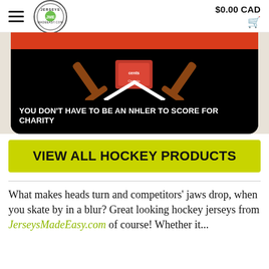$0.00 CAD
[Figure (photo): Hockey product image on black background with orange accents showing crossed hockey sticks and the text: YOU DON'T HAVE TO BE AN NHLER TO SCORE FOR CHARITY]
VIEW ALL HOCKEY PRODUCTS
What makes heads turn and competitors' jaws drop, when you skate by in a blur? Great looking hockey jerseys from JerseysMadeEasy.com of course! Whether it...